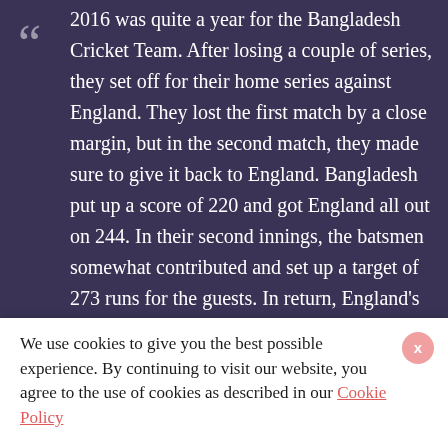2016 was quite a year for the Bangladesh Cricket Team. After losing a couple of series, they set off for their home series against England. They lost the first match by a close margin, but in the second match, they made sure to give it back to England. Bangladesh put up a score of 220 and got England all out on 244. In their second innings, the batsmen somewhat contributed and set up a target of 273 runs for the guests. In return, England's batsmen dropped their sword and collapsed on 164. Bangladesh's Mehedi Hasan was awarded as the man of the match for his
We use cookies to give you the best possible experience. By continuing to visit our website, you agree to the use of cookies as described in our Cookie Policy